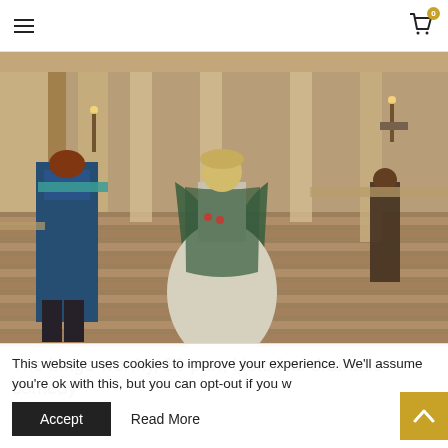Navigation header with hamburger menu and cart icon (badge: 0)
[Figure (photo): Scene from a historical dramatic comedy TV show. Two costumed figures stand on grand marble stairs inside an ornate palace hall with tall columns and candlelight. A woman in an elaborate pale ballgown with a dark green cape stands in the center; a man in a blue military uniform stands to the left with his back to the camera.]
The binge-worthy, 10-part, historical dramatic comedy
This website uses cookies to improve your experience. We'll assume you're ok with this, but you can opt-out if you w